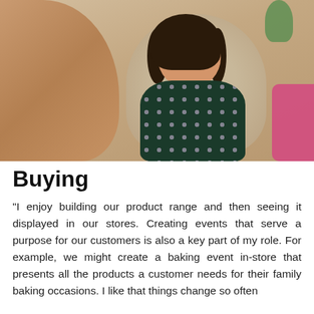[Figure (photo): A smiling woman with dark hair, wearing a dark floral dress, seated in a beige chair in what appears to be an office or lounge setting. A pink chair is visible to the right, and a blurred person is in the foreground left.]
Buying
"I enjoy building our product range and then seeing it displayed in our stores. Creating events that serve a purpose for our customers is also a key part of my role. For example, we might create a baking event in-store that presents all the products a customer needs for their family baking occasions. I like that things change so often